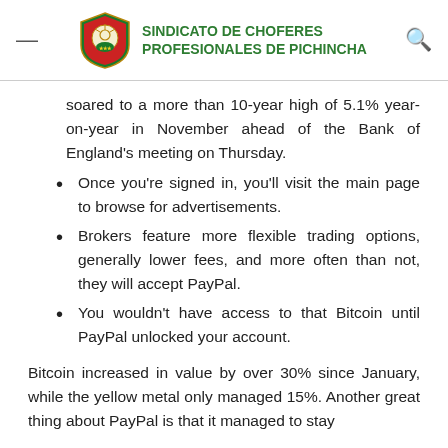SINDICATO DE CHOFERES PROFESIONALES DE PICHINCHA
soared to a more than 10-year high of 5.1% year-on-year in November ahead of the Bank of England's meeting on Thursday.
Once you're signed in, you'll visit the main page to browse for advertisements.
Brokers feature more flexible trading options, generally lower fees, and more often than not, they will accept PayPal.
You wouldn't have access to that Bitcoin until PayPal unlocked your account.
Bitcoin increased in value by over 30% since January, while the yellow metal only managed 15%. Another great thing about PayPal is that it managed to stay